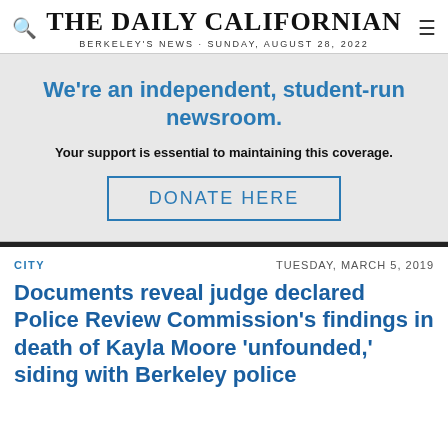THE DAILY CALIFORNIAN
BERKELEY'S NEWS · SUNDAY, AUGUST 28, 2022
We're an independent, student-run newsroom.
Your support is essential to maintaining this coverage.
DONATE HERE
CITY
TUESDAY, MARCH 5, 2019
Documents reveal judge declared Police Review Commission's findings in death of Kayla Moore 'unfounded,' siding with Berkeley police